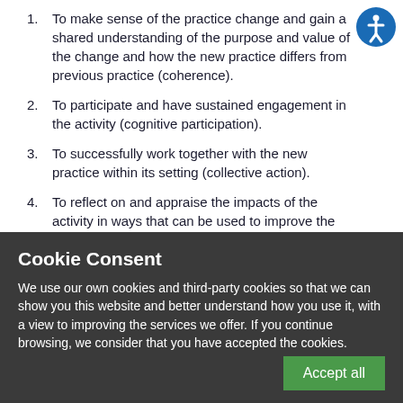To make sense of the practice change and gain a shared understanding of the purpose and value of the change and how the new practice differs from previous practice (coherence).
To participate and have sustained engagement in the activity (cognitive participation).
To successfully work together with the new practice within its setting (collective action).
To reflect on and appraise the impacts of the activity in ways that can be used to improve the process for those involved (reflexive monitoring).
Cookie Consent
We use our own cookies and third-party cookies so that we can show you this website and better understand how you use it, with a view to improving the services we offer. If you continue browsing, we consider that you have accepted the cookies.